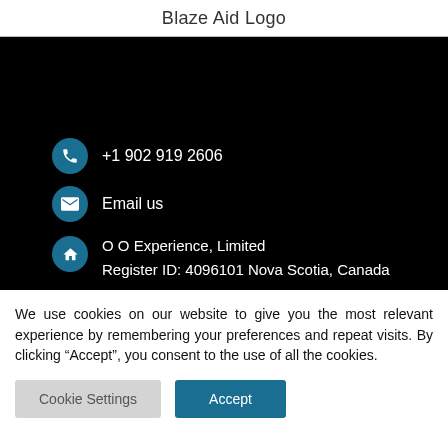Blaze Aid Logo
[Figure (other): Dark black section with contact info: phone +1 902 919 2606, Email us link, and address O O Experience, Limited, Register ID: 4096101 Nova Scotia, Canada — each with a teal circular icon]
We use cookies on our website to give you the most relevant experience by remembering your preferences and repeat visits. By clicking “Accept”, you consent to the use of all the cookies.
Cookie Settings | Accept